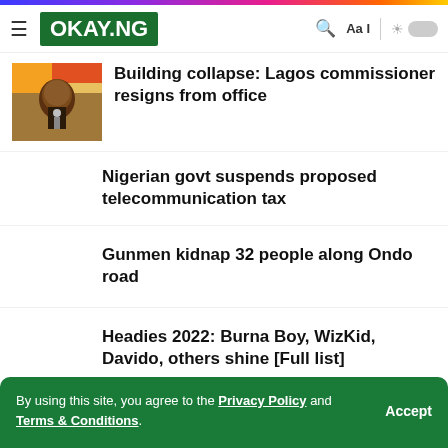OKAY.NG
Building collapse: Lagos commissioner resigns from office
Nigerian govt suspends proposed telecommunication tax
Gunmen kidnap 32 people along Ondo road
Headies 2022: Burna Boy, WizKid, Davido, others shine [Full list]
By using this site, you agree to the Privacy Policy and Terms & Conditions.